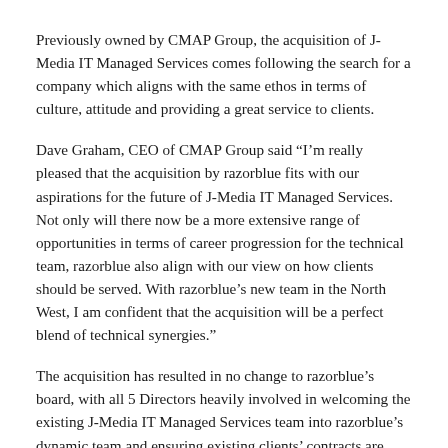Previously owned by CMAP Group, the acquisition of J-Media IT Managed Services comes following the search for a company which aligns with the same ethos in terms of culture, attitude and providing a great service to clients.
Dave Graham, CEO of CMAP Group said “I’m really pleased that the acquisition by razorblue fits with our aspirations for the future of J-Media IT Managed Services. Not only will there now be a more extensive range of opportunities in terms of career progression for the technical team, razorblue also align with our view on how clients should be served. With razorblue’s new team in the North West, I am confident that the acquisition will be a perfect blend of technical synergies.”
The acquisition has resulted in no change to razorblue’s board, with all 5 Directors heavily involved in welcoming the existing J-Media IT Managed Services team into razorblue’s dynamic team and ensuring existing clients’ contracts are fulfilled. razorblue pride themselves on service, and ensuring clients continue to receive the highest standards remains a priority.